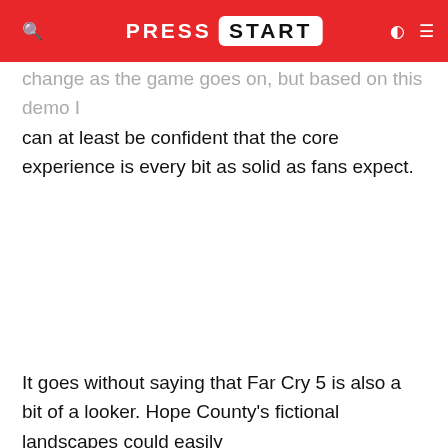PRESS START
change as the game goes on, but based on this demo I can at least be confident that the core experience is every bit as solid as fans expect.
It goes without saying that Far Cry 5 is also a bit of a looker. Hope County's fictional landscapes could easily